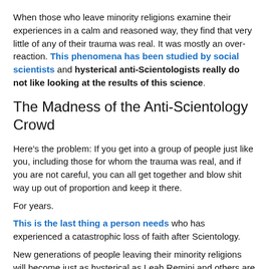When those who leave minority religions examine their experiences in a calm and reasoned way, they find that very little of any of their trauma was real. It was mostly an over-reaction. This phenomena has been studied by social scientists and hysterical anti-Scientologists really do not like looking at the results of this science.
The Madness of the Anti-Scientology Crowd
Here’s the problem: If you get into a group of people just like you, including those for whom the trauma was real, and if you are not careful, you can all get together and blow shit way up out of proportion and keep it there.
For years.
This is the last thing a person needs who has experienced a catastrophic loss of faith after Scientology.
New generations of people leaving their minority religions will become just as hysterical as Leah Remini and others are now. Fortunately, governments have become aware of this histrionic tendency in anti-cult types, and are presently wary of accepting their more hysterical claims without evidence. That’s an improvement over what happened at Waco.
Most Anti-Scientologists, eventually, will move out of this hysterical phase of what social scientists call apostasy and